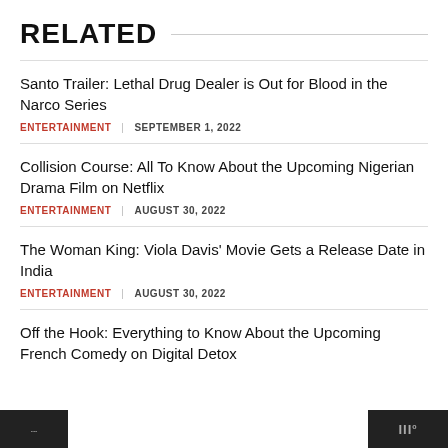RELATED
Santo Trailer: Lethal Drug Dealer is Out for Blood in the Narco Series
ENTERTAINMENT  SEPTEMBER 1, 2022
Collision Course: All To Know About the Upcoming Nigerian Drama Film on Netflix
ENTERTAINMENT  AUGUST 30, 2022
The Woman King: Viola Davis' Movie Gets a Release Date in India
ENTERTAINMENT  AUGUST 30, 2022
Off the Hook: Everything to Know About the Upcoming French Comedy on Digital Detox